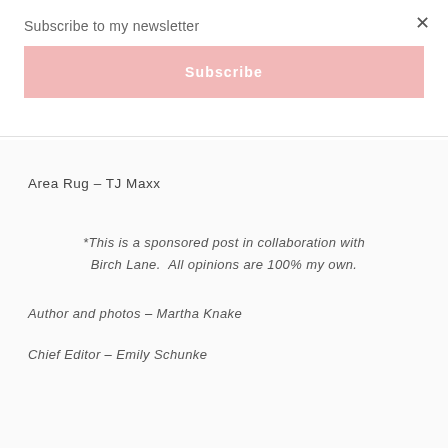×
Subscribe to my newsletter
Subscribe
Area Rug – TJ Maxx
*This is a sponsored post in collaboration with Birch Lane.  All opinions are 100% my own.
Author and photos – Martha Knake
Chief Editor – Emily Schunke